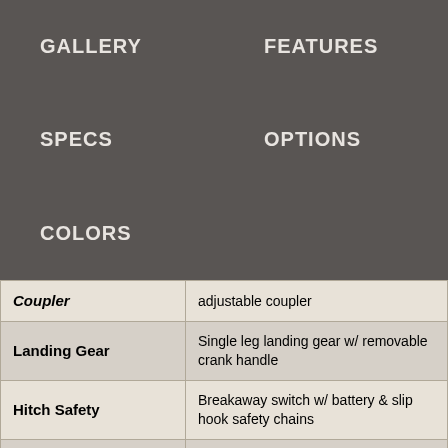GALLERY
FEATURES
SPECS
OPTIONS
COLORS
| Feature | Description |
| --- | --- |
| Coupler | adjustable coupler |
| Landing Gear | Single leg landing gear w/ removable crank handle |
| Hitch Safety | Breakaway switch w/ battery & slip hook safety chains |
| Exterior Lighting | LED brake, running lights and rear load light |
| Interior Lighting | One interior LED light per divider in horse area; Two LED lights in dressing room |
| Stall Dividers | Slant stall dividers w/ body, shoulder and head separator; |